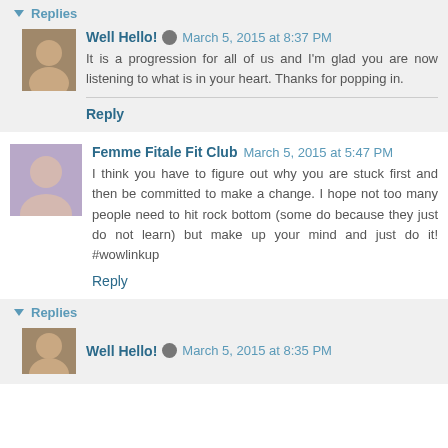Replies
Well Hello! March 5, 2015 at 8:37 PM
It is a progression for all of us and I'm glad you are now listening to what is in your heart. Thanks for popping in.
Reply
Femme Fitale Fit Club March 5, 2015 at 5:47 PM
I think you have to figure out why you are stuck first and then be committed to make a change. I hope not too many people need to hit rock bottom (some do because they just do not learn) but make up your mind and just do it! #wowlinkup
Reply
Replies
Well Hello! March 5, 2015 at 8:35 PM